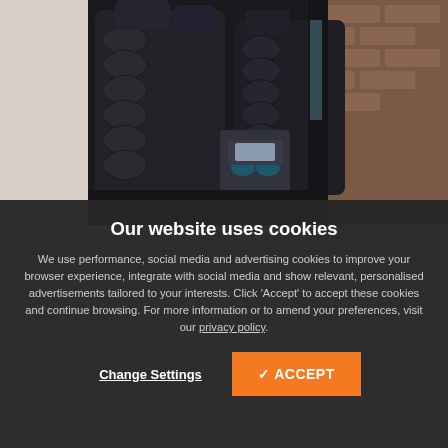[Figure (photo): Interior of a car showing black leather seats with geometric diamond/hexagon quilted pattern stitching, center console with gear shifter and cup holders, photographed from rear seat angle. Brick wall visible through window.]
Our website uses cookies
We use performance, social media and advertising cookies to improve your browser experience, integrate with social media and show relevant, personalised advertisements tailored to your interests. Click 'Accept' to accept these cookies and continue browsing. For more information or to amend your preferences, visit our privacy policy.
Change Settings
✓ ACCEPT